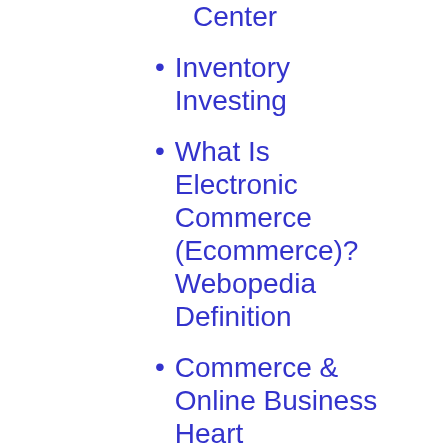Online Business Center
Inventory Investing
What Is Electronic Commerce (Ecommerce)? Webopedia Definition
Commerce & Online Business Heart
Are You Conscious Of These 4 Improbable Claims Typically